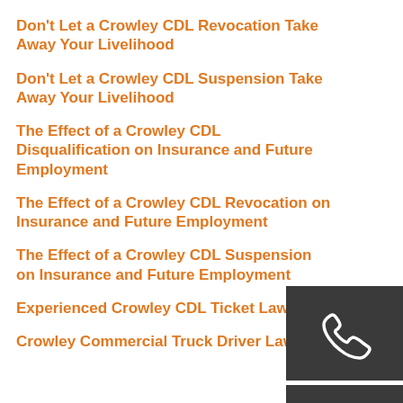Don't Let a Crowley CDL Revocation Take Away Your Livelihood
Don't Let a Crowley CDL Suspension Take Away Your Livelihood
The Effect of a Crowley CDL Disqualification on Insurance and Future Employment
The Effect of a Crowley CDL Revocation on Insurance and Future Employment
The Effect of a Crowley CDL Suspension on Insurance and Future Employment
Experienced Crowley CDL Ticket Lawyer
Crowley Commercial Truck Driver Lawyer
[Figure (illustration): Dark grey square icon with white telephone handset symbol]
[Figure (illustration): Dark grey square icon with white envelope/mail symbol]